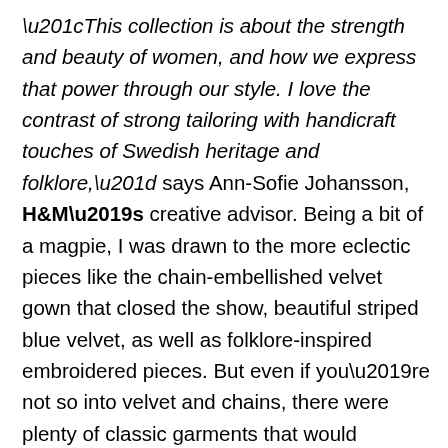“This collection is about the strength and beauty of women, and how we express that power through our style. I love the contrast of strong tailoring with handicraft touches of Swedish heritage and folklore,” says Ann-Sofie Johansson, H&M’s creative advisor. Being a bit of a magpie, I was drawn to the more eclectic pieces like the chain-embellished velvet gown that closed the show, beautiful striped blue velvet, as well as folklore-inspired embroidered pieces. But even if you’re not so into velvet and chains, there were plenty of classic garments that would enhance any modern woman’s wardrobe – from the beautifully-tailored coats, to masculine pantsuits. The collection will hit the stores on September 8th and will be available in 200 stores